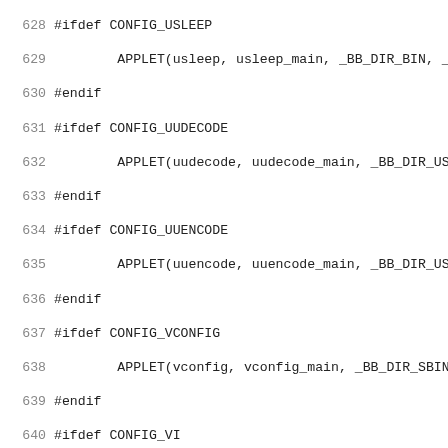Source code listing lines 628-659, C preprocessor macros for BusyBox applet configuration
628 #ifdef CONFIG_USLEEP
629     APPLET(usleep, usleep_main, _BB_DIR_BIN, _BB_SU
630 #endif
631 #ifdef CONFIG_UUDECODE
632     APPLET(uudecode, uudecode_main, _BB_DIR_USR_BIN
633 #endif
634 #ifdef CONFIG_UUENCODE
635     APPLET(uuencode, uuencode_main, _BB_DIR_USR_BIN
636 #endif
637 #ifdef CONFIG_VCONFIG
638     APPLET(vconfig, vconfig_main, _BB_DIR_SBIN, _BB
639 #endif
640 #ifdef CONFIG_VI
641     APPLET(vi, vi_main, _BB_DIR_BIN, _BB_SUID_NEVER
642 #endif
643 #ifdef CONFIG_VLOCK
644     APPLET(vlock, vlock_main, _BB_DIR_USR_BIN, _BB_
645 #endif
646 #ifdef CONFIG_WATCH
647     APPLET(watch, watch_main, _BB_DIR_BIN, _BB_SUID
648 #endif
649 #ifdef CONFIG_WATCHDOG
650     APPLET(watchdog, watchdog_main, _BB_DIR_SBIN, _
651 #endif
652 #ifdef CONFIG_WC
653     APPLET(wc, wc_main, _BB_DIR_USR_BIN, _BB_SUID_N
654 #endif
655 #ifdef CONFIG_WGET
656     APPLET(wget, wget_main, _BB_DIR_USR_BIN, _BB_SU
657 #endif
658 #ifdef CONFIG_WHICH
659     APPLET(which, which_main, _BB_DIR_USR_BIN, _BB_